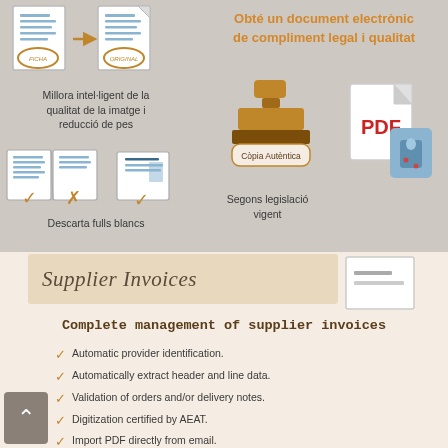[Figure (infographic): Document scanning infographic with two sections. Top section (gray background) shows: document icons with arrow, text about 'Millora intel·ligent de la qualitat de la imatge i reducció de pes'; books/pages with check and cross icons, text 'Descarta fulls blancs'; orange heading 'Obté un document electrònic de compliment legal i qualitat'; stamp icon labeled 'Còpia Autèntica', text 'Segons legislació vigent'; PDF file icon. Bottom section (cream/beige) shows invoice banner 'Supplier Invoices', heading 'Complete management of supplier invoices', and bullet list of features.]
Millora intel·ligent de la qualitat de la imatge i reducció de pes
Descarta fulls blancs
Obté un document electrònic de compliment legal i qualitat
Còpia Autèntica
Segons legislació vigent
Complete management of supplier invoices
Automatic provider identification.
Automatically extract header and line data.
Validation of orders and/or delivery notes.
Digitization certified by AEAT.
Import PDF directly from email.